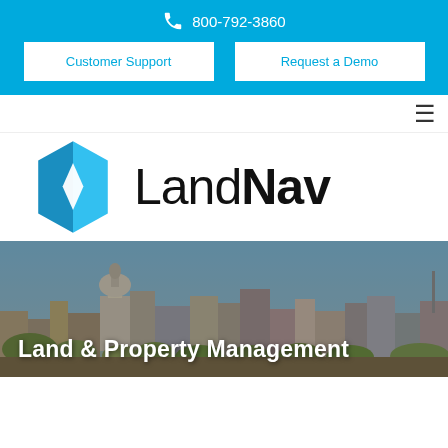800-792-3860
Customer Support
Request a Demo
[Figure (logo): LandNav logo with blue hexagon icon and LandNav wordmark]
[Figure (photo): City skyline with domed capitol building and urban buildings in background]
Land & Property Management
Our solution for Land & Property Management allows a